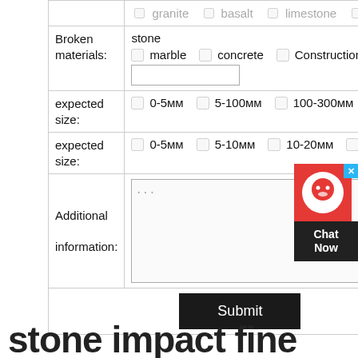| Broken materials: | stone
marble  concrete  Construction waste  [text input] |
| expected size: | 0-5мм  5-100мм  100-300мм  300-5... |
| expected size: | 0-5мм  5-10мм  10-20мм  2... |
| Additional information: | ... [textarea] |
|  | Submit |
stone impact fine